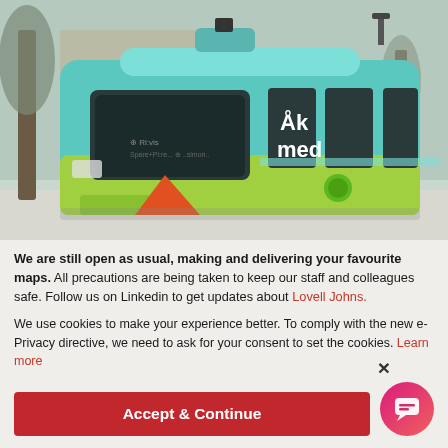[Figure (photo): Front view of a teal/green autonomous electric bus (EasyMile or similar) with 'Åk med' text on the side, parked outdoors in winter with bare trees and snow in the background.]
We are still open as usual, making and delivering your favourite maps. All precautions are being taken to keep our staff and colleagues safe. Follow us on Linkedin to get updates about Lovell Johns.
We use cookies to make your experience better. To comply with the new e-Privacy directive, we need to ask for your consent to set the cookies. Learn more